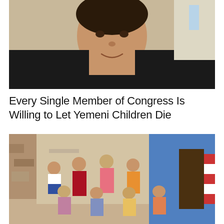[Figure (photo): Close-up photo of a man in a black jacket, smiling, with a light-colored wall background]
Every Single Member of Congress Is Willing to Let Yemeni Children Die
[Figure (photo): Group of Yemeni children standing and sitting in a narrow alleyway with colorful painted walls]